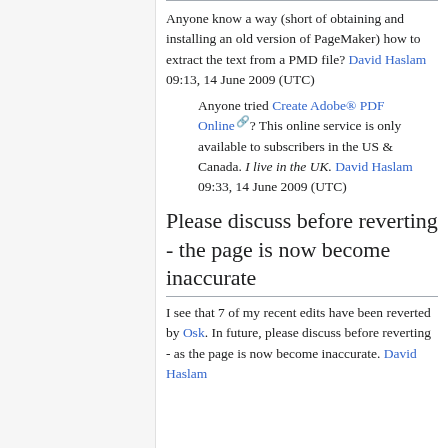Anyone know a way (short of obtaining and installing an old version of PageMaker) how to extract the text from a PMD file? David Haslam 09:13, 14 June 2009 (UTC)
Anyone tried Create Adobe® PDF Online? This online service is only available to subscribers in the US & Canada. I live in the UK. David Haslam 09:33, 14 June 2009 (UTC)
Please discuss before reverting - the page is now become inaccurate
I see that 7 of my recent edits have been reverted by Osk. In future, please discuss before reverting - as the page is now become inaccurate. David Haslam